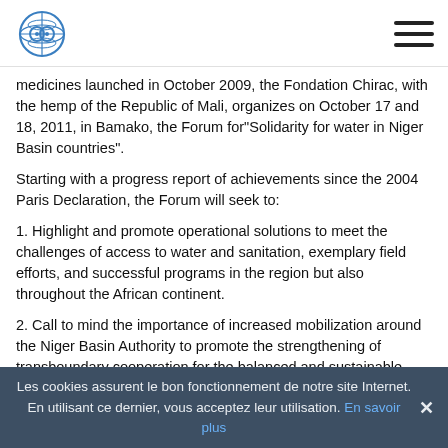[OIF Logo] [Hamburger menu]
medicines launched in October 2009, the Fondation Chirac, with the hemp of the Republic of Mali, organizes on October 17 and 18, 2011, in Bamako, the Forum for"Solidarity for water in Niger Basin countries".
Starting with a progress report of achievements since the 2004 Paris Declaration, the Forum will seek to:
1. Highlight and promote operational solutions to meet the challenges of access to water and sanitation, exemplary field efforts, and successful programs in the region but also throughout the African continent.
2. Call to mind the importance of increased mobilization around the Niger Basin Authority to promote the strengthening of transboundary cooperation for the balanced and sustainable development and management of shared water resources.
Les cookies assurent le bon fonctionnement de notre site Internet. En utilisant ce dernier, vous acceptez leur utilisation. En savoir plus